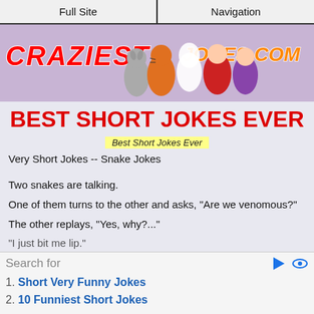Full Site | Navigation
[Figure (illustration): CraziestJokes.com website banner with cartoon characters including animals and costumed figures on a purple background]
BEST SHORT JOKES EVER
Best Short Jokes Ever
Very Short Jokes -- Snake Jokes
Two snakes are talking.
One of them turns to the other and asks, "Are we venomous?"
The other replays, "Yes, why?..."
"I just bit me lip."
Search for
1. Short Very Funny Jokes
2. 10 Funniest Short Jokes